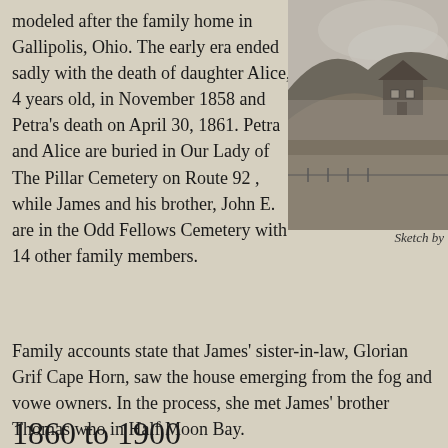modeled after the family home in Gallipolis, Ohio. The early era ended sadly with the death of daughter Alice, 4 years old, in November 1858 and Petra's death on April 30, 1861. Petra and Alice are buried in Our Lady of The Pillar Cemetery on Route 92 , while James and his brother, John E. are in the Odd Fellows Cemetery with 14 other family members.
[Figure (illustration): Black and white sketch showing a house emerging from a foggy or hilly landscape, with mountains or hills in the background.]
Sketch by
Family accounts state that James' sister-in-law, Glorian Grif Cape Horn, saw the house emerging from the fog and vowe owners. In the process, she met James' brother Thomas who in Half Moon Bay.
1860 to 1900